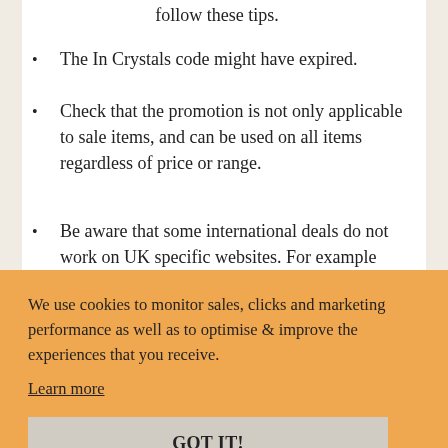follow these tips.
The In Crystals code might have expired.
Check that the promotion is not only applicable to sale items, and can be used on all items regardless of price or range.
Be aware that some international deals do not work on UK specific websites. For example some coupon websites from the [partially obscured]ot
We use cookies to monitor sales, clicks and marketing performance as well as to optimise & improve the experiences that you receive.
Learn more
GOT IT!
you to spend £100 first